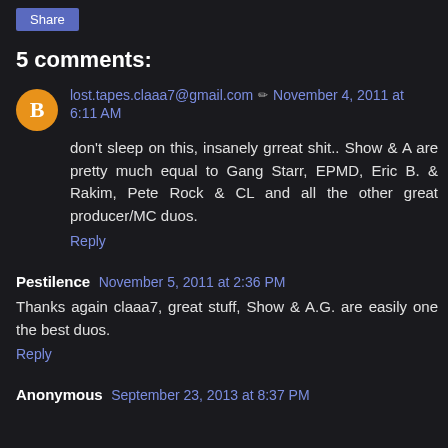Share
5 comments:
lost.tapes.claaa7@gmail.com  November 4, 2011 at 6:11 AM
don't sleep on this, insanely grreat shit.. Show & A are pretty much equal to Gang Starr, EPMD, Eric B. & Rakim, Pete Rock & CL and all the other great producer/MC duos.
Reply
Pestilence  November 5, 2011 at 2:36 PM
Thanks again claaa7, great stuff, Show & A.G. are easily one the best duos.
Reply
Anonymous  September 23, 2013 at 8:37 PM